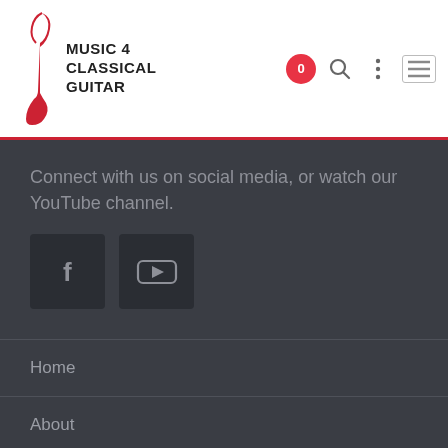MUSIC 4 CLASSICAL GUITAR
Connect with us on social media, or watch our YouTube channel.
[Figure (illustration): Facebook icon button and YouTube icon button on dark background]
Home
About
Catalogue
Buy a Bundle
Contact